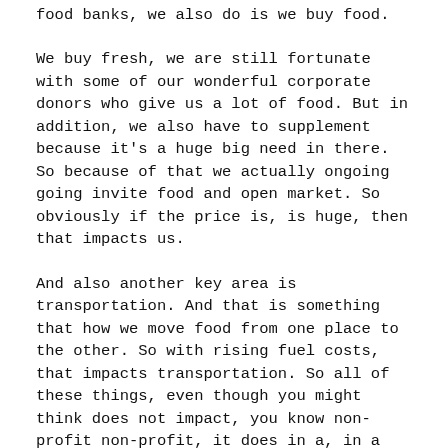food banks, we also do is we buy food.
We buy fresh, we are still fortunate with some of our wonderful corporate donors who give us a lot of food. But in addition, we also have to supplement because it’s a huge big need in there. So because of that we actually ongoing going invite food and open market. So obviously if the price is, is huge, then that impacts us.
And also another key area is transportation. And that is something that how we move food from one place to the other. So with rising fuel costs, that impacts transportation. So all of these things, even though you might think does not impact, you know non-profit non-profit, it does in a, in a larger.
What are some of the biggest challenges Feeding America faces when it